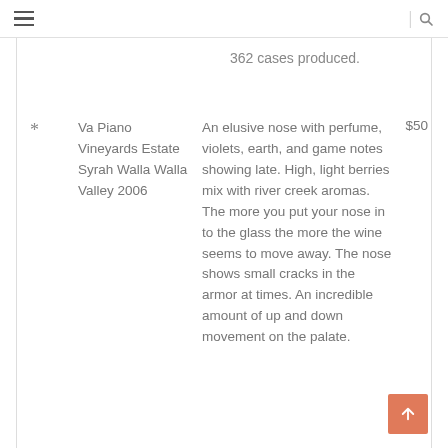≡ | 🔍
362 cases produced.
* Va Piano Vineyards Estate Syrah Walla Walla Valley 2006 — An elusive nose with perfume, violets, earth, and game notes showing late. High, light berries mix with river creek aromas. The more you put your nose in to the glass the more the wine seems to move away. The nose shows small cracks in the armor at times. An incredible amount of up and down movement on the palate. $50